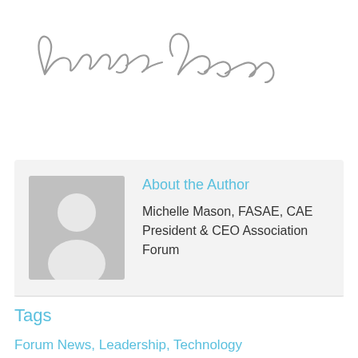[Figure (illustration): Handwritten cursive signature reading 'Michelle Mason']
About the Author
Michelle Mason, FASAE, CAE President & CEO Association Forum
Tags
Forum News, Leadership, Technology